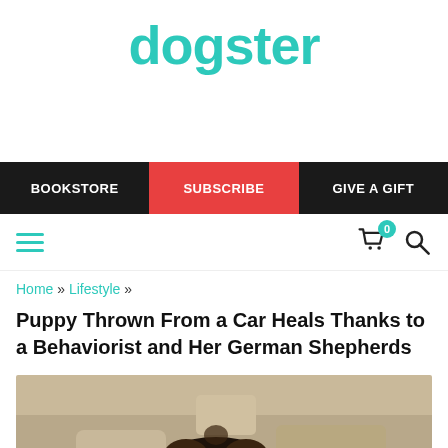dogster
BOOKSTORE | SUBSCRIBE | GIVE A GIFT
Home » Lifestyle »
Puppy Thrown From a Car Heals Thanks to a Behaviorist and Her German Shepherds
[Figure (photo): A puppy outdoors near a rocky surface, photographed from above showing the top of its head]